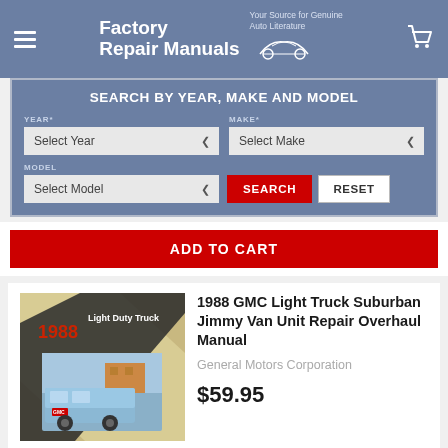Factory Repair Manuals — Your Source for Genuine Auto Literature
SEARCH BY YEAR, MAKE AND MODEL
YEAR* Select Year   MAKE* Select Make   MODEL Select Model   SEARCH   RESET
ADD TO CART
1988 GMC Light Truck Suburban Jimmy Van Unit Repair Overhaul Manual
General Motors Corporation
$59.95